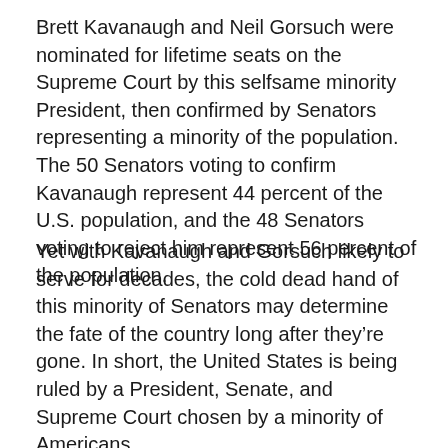Brett Kavanaugh and Neil Gorsuch were nominated for lifetime seats on the Supreme Court by this selfsame minority President, then confirmed by Senators representing a minority of the population. The 50 Senators voting to confirm Kavanaugh represent 44 percent of the U.S. population, and the 48 Senators voting to reject him represent 56 percent of the population.
Yet with Kavanaugh and Gorsuch likely to serve for decades, the cold dead hand of this minority of Senators may determine the fate of the country long after they’re gone. In short, the United States is being ruled by a President, Senate, and Supreme Court chosen by a minority of Americans.